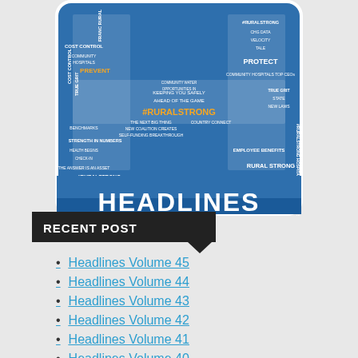[Figure (illustration): Headlines newsletter logo: blue rounded rectangle with large letter H made from word cloud text including terms like #RURALSTRONG, COST CONTROL, PREVENT, TRUE GRIT, PROTECT, EMPLOYEE BENEFITS, RURAL STRONG, PROSPER, STOP COMPETING START COLLABORATING. The word HEADLINES appears in large bold white text at the bottom of the blue rectangle.]
RECENT POST
Headlines Volume 45
Headlines Volume 44
Headlines Volume 43
Headlines Volume 42
Headlines Volume 41
Headlines Volume 40